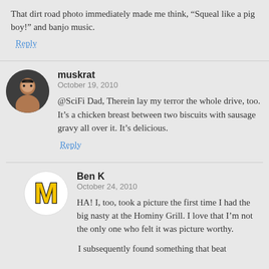That dirt road photo immediately made me think, “Squeal like a pig boy!” and banjo music.
Reply
[Figure (photo): Circular avatar photo of muskrat commenter, person with glasses against dark background]
muskrat
October 19, 2010
@SciFi Dad, Therein lay my terror the whole drive, too. It’s a chicken breast between two biscuits with sausage gravy all over it. It’s delicious.
Reply
[Figure (logo): Circular avatar with yellow University of Michigan M logo on white background]
Ben K
October 24, 2010
HA! I, too, took a picture the first time I had the big nasty at the Hominy Grill. I love that I’m not the only one who felt it was picture worthy.
I subsequently found something that beat